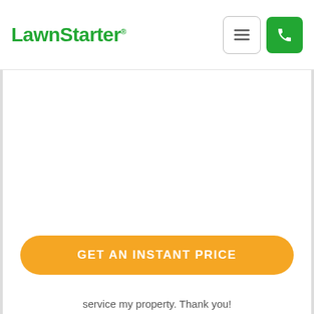LawnStarter®
[Figure (screenshot): White blank main content area (map or image placeholder)]
[Figure (illustration): Large green opening quotation mark icon]
GET AN INSTANT PRICE
service my property. Thank you!